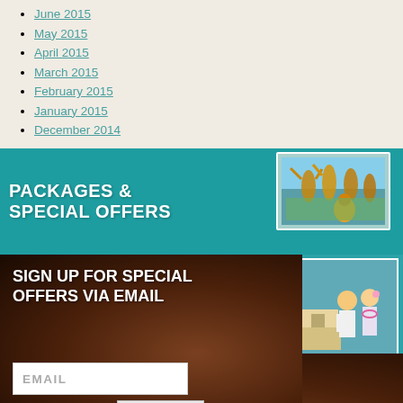June 2015
May 2015
April 2015
March 2015
February 2015
January 2015
December 2014
[Figure (photo): Banner with hula dancers photo and teal background, text: PACKAGES & SPECIAL OFFERS]
[Figure (photo): Banner with couple at resort photo and teal background, text: VIEW OUR GALLERIES]
[Figure (infographic): Dark brown wooden background with email sign-up form: SIGN UP FOR SPECIAL OFFERS VIA EMAIL, EMAIL input field, Subscribe button]
[Figure (illustration): Bottom light blue section with partial pineapple illustration]